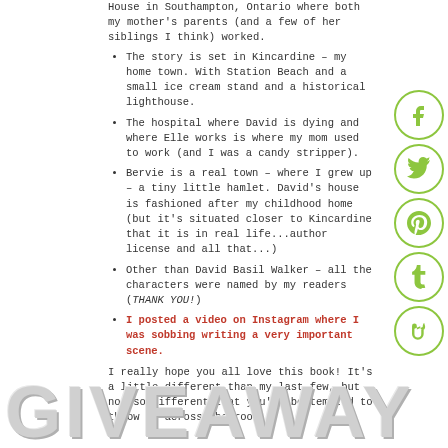House in Southampton, Ontario where both my mother's parents (and a few of her siblings I think) worked.
The story is set in Kincardine – my home town. With Station Beach and a small ice cream stand and a historical lighthouse.
The hospital where David is dying and where Elle works is where my mom used to work (and I was a candy stripper).
Bervie is a real town – where I grew up – a tiny little hamlet. David's house is fashioned after my childhood home (but it's situated closer to Kincardine that it is in real life...author license and all that...)
Other than David Basil Walker – all the characters were named by my readers (THANK YOU!)
I posted a video on Instagram where I was sobbing writing a very important scene.
I really hope you all love this book! It's a little different than my last few, but not so different that you'll be tempted to throw it across the room.
GIVEAWAY